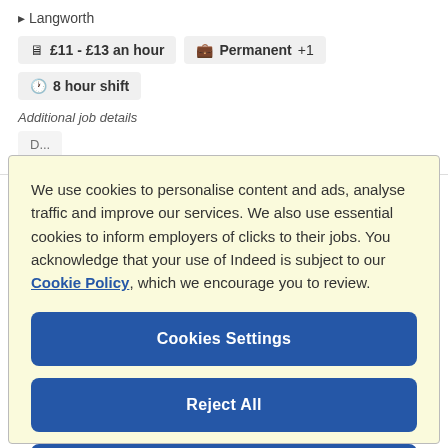Longworth
£11 - £13 an hour   Permanent +1   8 hour shift
Additional job details
We use cookies to personalise content and ads, analyse traffic and improve our services. We also use essential cookies to inform employers of clicks to their jobs. You acknowledge that your use of Indeed is subject to our Cookie Policy, which we encourage you to review.
Cookies Settings
Reject All
Accept All Cookies